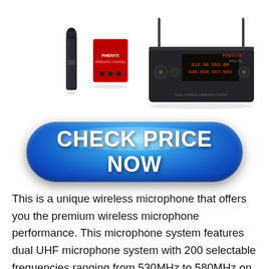[Figure (photo): Phenyx PTU-71 wireless microphone system product photo showing handheld microphone, bodypack transmitter, and dual-channel UHF receiver unit with display]
[Figure (other): Blue glossy 'CHECK PRICE NOW' call-to-action button]
This is a unique wireless microphone that offers you the premium wireless microphone performance. This microphone system features dual UHF microphone system with 200 selectable frequencies ranging from 530MHz to 580MHz on each channel. Hence